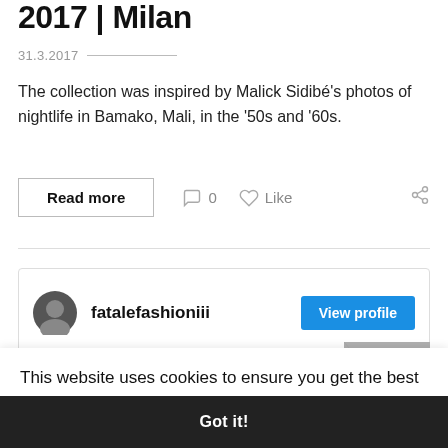2017 | Milan
31.3.2017
The collection was inspired by Malick Sidibé's photos of nightlife in Bamako, Mali, in the '50s and '60s.
Read more   0   Like
fatalefashioniii
This website uses cookies to ensure you get the best experience on our website.
Learn more
Got it!